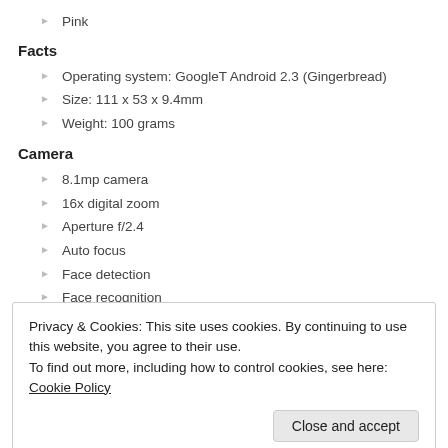Pink
Facts
Operating system: GoogleT Android 2.3 (Gingerbread)
Size:  111 x 53 x 9.4mm
Weight: 100 grams
Camera
8.1mp camera
16x digital zoom
Aperture f/2.4
Auto focus
Face detection
Face recognition
Photo light
Privacy & Cookies: This site uses cookies. By continuing to use this website, you agree to their use.
To find out more, including how to control cookies, see here: Cookie Policy
Send to web